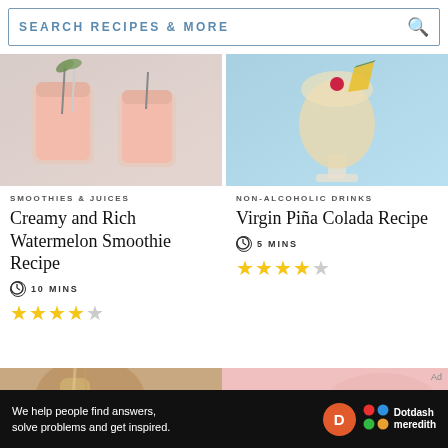SEARCH RECIPES & MORE
[Figure (photo): Two pink watermelon smoothies in glass mason jars with straws and garnish on a light background]
SMOOTHIES & JUICES
Creamy and Rich Watermelon Smoothie Recipe
10 MINS
★★★★☆
[Figure (photo): A virgin pina colada in a tall glass garnished with a cherry and pineapple slice on a blue background]
NON-ALCOHOLIC DRINKS
Virgin Piña Colada Recipe
5 MINS
★★★★☆
[Figure (photo): Bottom-cropped image of a chocolate drink in a glass jar with straw]
[Figure (photo): Bottom-cropped image on pink background with Ad label]
We help people find answers, solve problems and get inspired. Dotdash meredith